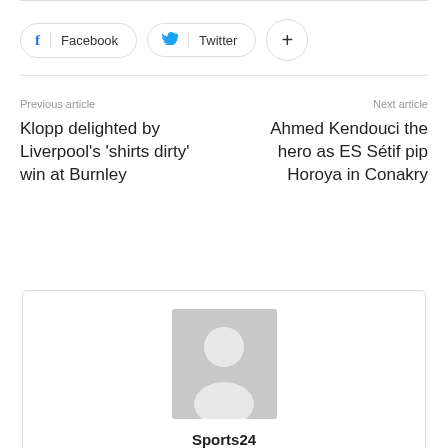[Figure (other): Social share buttons: Facebook, Twitter, and a plus button]
Previous article
Next article
Klopp delighted by Liverpool's 'shirts dirty' win at Burnley
Ahmed Kendouci the hero as ES Sétif pip Horoya in Conakry
[Figure (illustration): Author avatar placeholder showing a generic person silhouette in grey]
Sports24